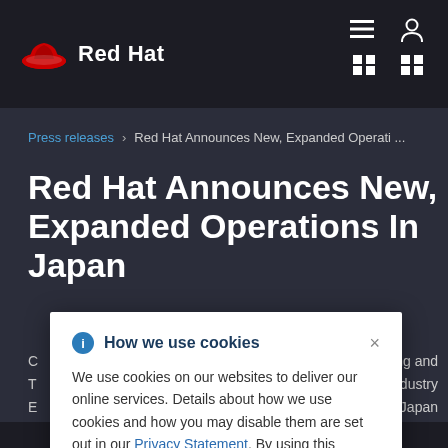Red Hat
Press releases > Red Hat Announces New, Expanded Operati...
Red Hat Announces New, Expanded Operations In Japan
...Marketing and T...d Industry E...Japan
How we use cookies

We use cookies on our websites to deliver our online services. Details about how we use cookies and how you may disable them are set out in our Privacy Statement. By using this website you agree to our use of cookies.